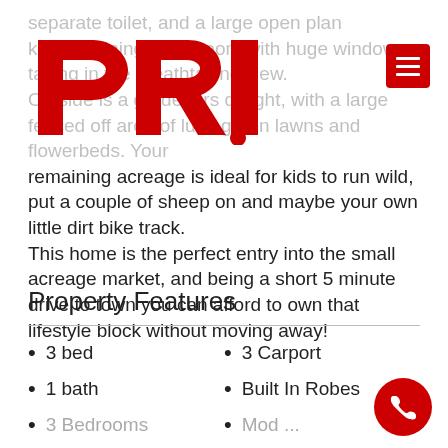[Figure (logo): PRD real estate logo in red, large block letters PRD with a dot]
separate toilet, and a large open plan kitchen/dining/living room with huge windows taking in the breathtaking view. Outside is a gardeners delight, with a large fenced off area of lush green lawns and flowerbeds. Your remaining acreage is ideal for kids to run wild, put a couple of sheep on and maybe your own little dirt bike track. This home is the perfect entry into the small acreage market, and being a short 5 minute drive to town you can afford to own that lifestyle block without moving away!
Property Features
3 bed
1 bath
3 Carport
Built In Robes